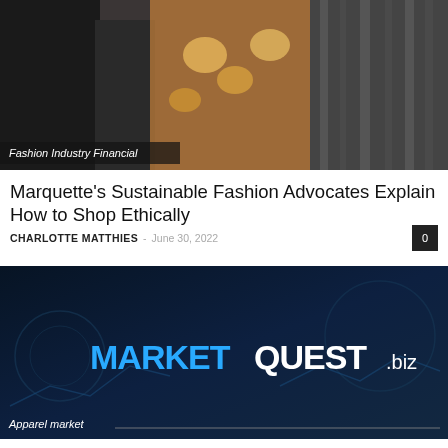[Figure (photo): Fashion store clothing rack photo with 'Fashion Industry Financial' badge overlay]
Marquette's Sustainable Fashion Advocates Explain How to Shop Ethically
CHARLOTTE MATTHIES – June 30, 2022
[Figure (logo): MarketQuest.biz banner logo on dark blue background with 'Apparel market' badge]
Global Functional Workwear Market 2022 Competition Landscape, Growth Opportunity, Industry Status and Forecast 2028 – Instant Interview
CHARLOTTE MATTHIES – June 29, 2022